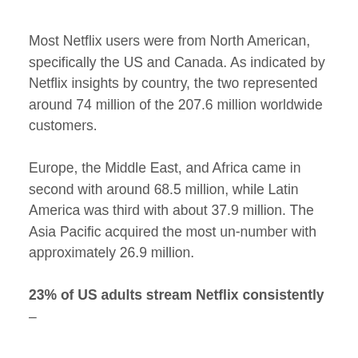Most Netflix users were from North American, specifically the US and Canada. As indicated by Netflix insights by country, the two represented around 74 million of the 207.6 million worldwide customers.
Europe, the Middle East, and Africa came in second with around 68.5 million, while Latin America was third with about 37.9 million. The Asia Pacific acquired the most un-number with approximately 26.9 million.
23% of US adults stream Netflix consistently –